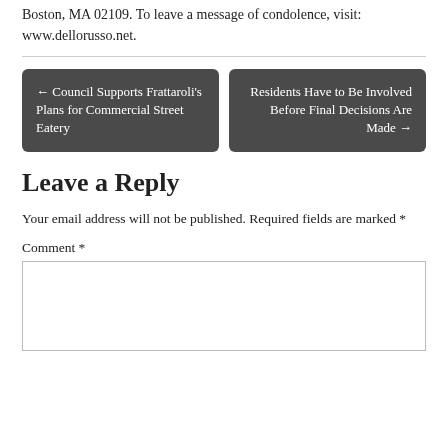Boston, MA 02109. To leave a message of condolence, visit: www.dellorusso.net.
← Council Supports Frattaroli's Plans for Commercial Street Eatery | Residents Have to Be Involved Before Final Decisions Are Made →
Leave a Reply
Your email address will not be published. Required fields are marked *
Comment *
[Figure (other): Empty comment text input box]